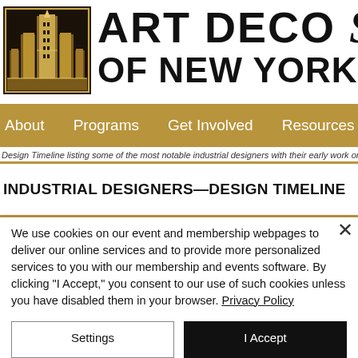[Figure (logo): Art Deco Society of New York logo — stylized art deco skyscraper/building in gold and dark tones inside a square frame]
ART DECO SOC OF NEW YORK
About    Programs    Get Involved    Resources    W
Design Timeline listing some of the most notable industrial designers with their early work on radios h
INDUSTRIAL DESIGNERS—DESIGN TIMELINE
We use cookies on our event and membership webpages to deliver our online services and to provide more personalized services to you with our membership and events software. By clicking "I Accept," you consent to our use of such cookies unless you have disabled them in your browser. Privacy Policy
Settings
I Accept